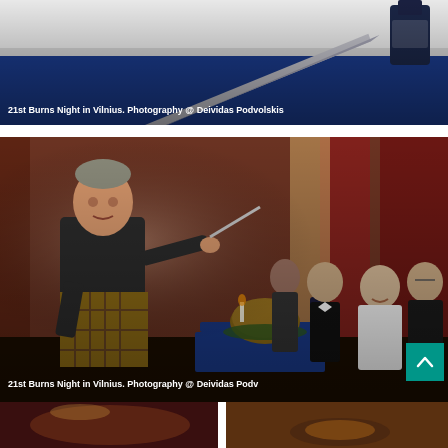[Figure (photo): Close-up photo of a kitchen knife on a blue cloth surface with a dark bottle in background. Caption overlay reads: 21st Burns Night in Vilnius. Photography @ Deividas Podvolskis]
21st Burns Night in Vilnius. Photography @ Deividas Podvolskis
[Figure (photo): Man in Scottish kilt and dark jacket performing a haggis ceremony at a table surrounded by a crowd. Caption overlay reads: 21st Burns Night in Vilnius. Photography @ Deividas Podv...]
21st Burns Night in Vilnius. Photography @ Deividas Podvolskis
[Figure (photo): Partial photo at bottom showing a dimly lit event venue scene, partially cut off.]